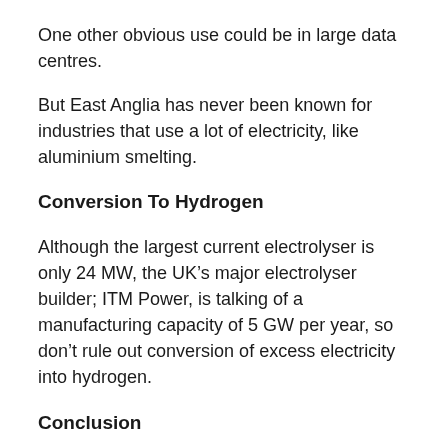One other obvious use could be in large data centres.
But East Anglia has never been known for industries that use a lot of electricity, like aluminium smelting.
Conversion To Hydrogen
Although the largest current electrolyser is only 24 MW, the UK’s major electrolyser builder; ITM Power, is talking of a manufacturing capacity of 5 GW per year, so don’t rule out conversion of excess electricity into hydrogen.
Conclusion
Who needs Sizewell C?
Perhaps as a replacement for Sizewell B, but it would appear there is no pressing urgency.